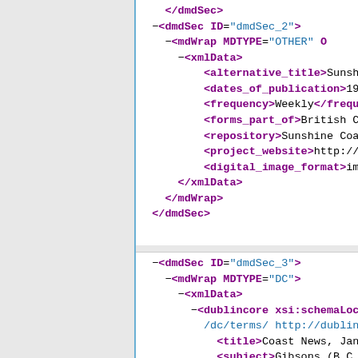[Figure (screenshot): XML/METS document viewer showing dmdSec elements with metadata fields including dmdSec_2 with mdWrap MDTYPE OTHER containing xmlData with alternative_title, dates_of_publication, frequency, forms_part_of, repository, project_website, digital_image_format fields; and dmdSec_3 with mdWrap MDTYPE DC containing xmlData with dublincore elements including title, subject, description, publisher, date, language]